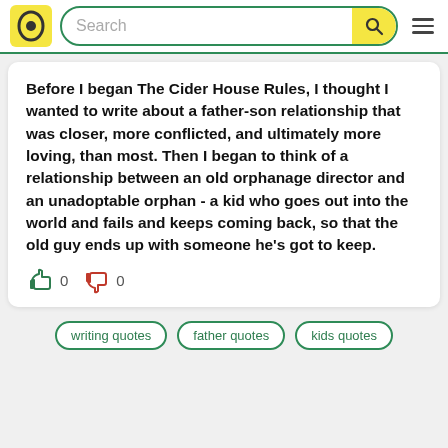[Figure (screenshot): Quora-style website header with logo, search bar, and hamburger menu]
Before I began The Cider House Rules, I thought I wanted to write about a father-son relationship that was closer, more conflicted, and ultimately more loving, than most. Then I began to think of a relationship between an old orphanage director and an unadoptable orphan - a kid who goes out into the world and fails and keeps coming back, so that the old guy ends up with someone he's got to keep.
0  0
writing quotes
father quotes
kids quotes